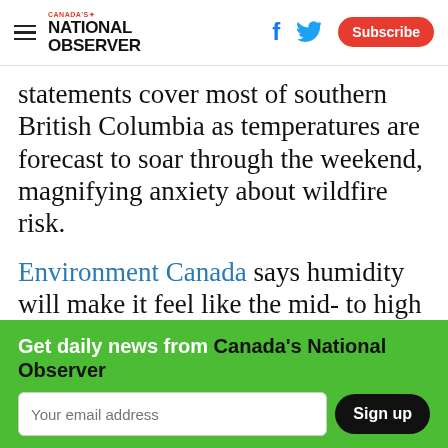Canada's National Observer — Subscribe
statements cover most of southern British Columbia as temperatures are forecast to soar through the weekend, magnifying anxiety about wildfire risk.
Environment Canada says humidity will make it feel like the mid- to high 30s across the south coast and inland sections of the north and central coasts, while it could feel
Get daily news from Canada's National Observer
Your email address